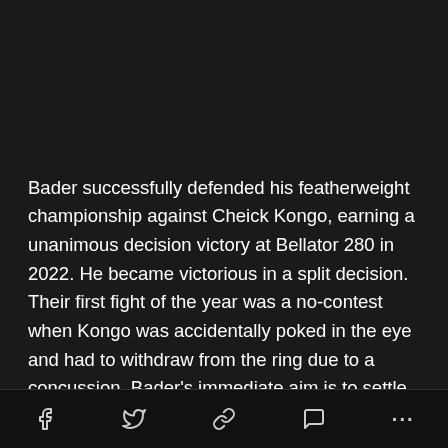Bader successfully defended his featherweight championship against Cheick Kongo, earning a unanimous decision victory at Bellator 280 in 2022. He became victorious in a split decision. Their first fight of the year was a no-contest when Kongo was accidentally poked in the eye and had to withdraw from the ring due to a concussion. Bader's immediate aim is to settle the score with his French opponent. Furthermore, he said He is in concluded this deal here and see where we go from here mode right now. He falls under the association of the
f  [twitter]  [link]  [comment]  ...